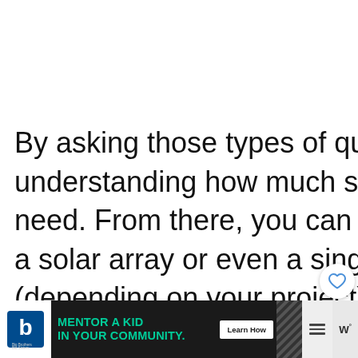By asking those types of questions, you begin understanding how much solar energy you need. From there, you can calculate the size of a solar array or even a single panel (depending on your project) to
[Figure (screenshot): UI overlay: heart/like button (white circle with heart icon), share button (white circle with share icon), and 'What's Next' card showing a thumbnail image and text 'Solar Panel For Pool...' with red label]
[Figure (screenshot): Advertisement banner at bottom: Big Brothers Big Sisters logo, green text 'MENTOR A KID IN YOUR COMMUNITY.', Learn How button, diagonal stripe graphic, hamburger menu icon, W superscript icon]